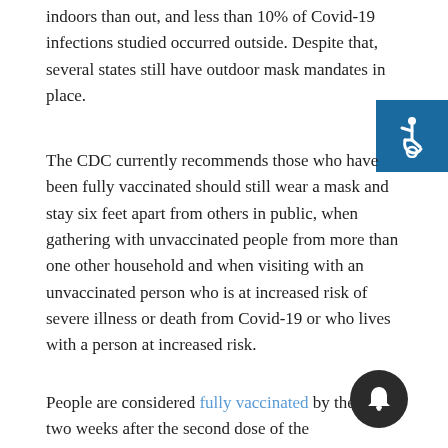indoors than out, and less than 10% of Covid-19 infections studied occurred outside. Despite that, several states still have outdoor mask mandates in place.
The CDC currently recommends those who have been fully vaccinated should still wear a mask and stay six feet apart from others in public, when gathering with unvaccinated people from more than one other household and when visiting with an unvaccinated person who is at increased risk of severe illness or death from Covid-19 or who lives with a person at increased risk.
People are considered fully vaccinated by the CDC two weeks after the second dose of the Pfizer/BioNTech or Moderna vaccines or two weeks after the single-dose Johnson & Johnson vaccine.